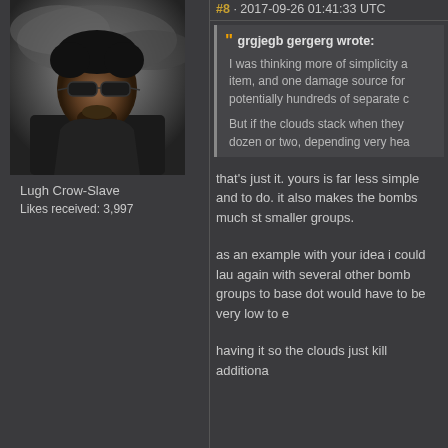#8 · 2017-09-26 01:41:33 UTC
[Figure (photo): Avatar image of a male video game character with sunglasses and dark clothing against a cloudy background]
Lugh Crow-Slave
Likes received: 3,997
grgjegb gergerg wrote:

I was thinking more of simplicity a item, and one damage source for potentially hundreds of separate 

But if the clouds stack when they dozen or two, depending very hea
that's just it. yours is far less simple and to do. it also makes the bombs much st smaller groups.
as an example with your idea i could lau again with several other bomb groups to base dot would have to be very low to e
having it so the clouds just kill additiona